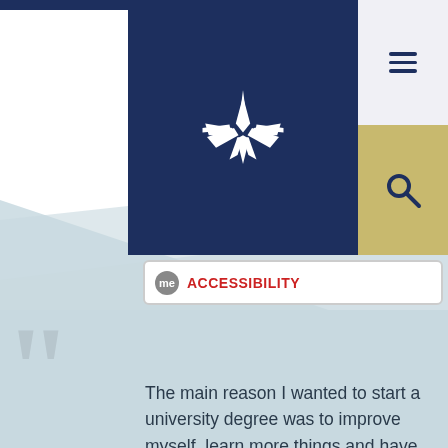[Figure (logo): University of Sunderland logo - white starburst/diamond shape on navy background]
[Figure (screenshot): Navigation bar with hamburger menu icon on light grey background, and search icon on gold/khaki background]
[Figure (other): Accessibility widget button with 'me' badge and red ACCESSIBILITY text on white rounded rectangle]
The main reason I wanted to start a university degree was to improve myself, learn more things and have more chances to find a better job after I graduate. The University of Sunderland was my first choice because I live locally and it's easy for me to attend.
I studied a foundation year in Business and Marketing Management and learned how important Social Media is in the world of business, and that a lot of